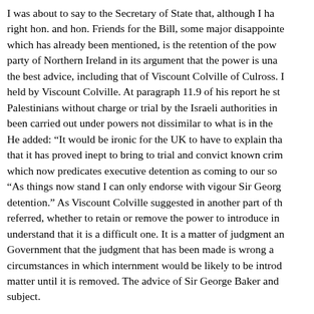I was about to say to the Secretary of State that, although I have right hon. and hon. Friends for the Bill, some major disappointments which has already been mentioned, is the retention of the pow party of Northern Ireland in its argument that the power is unac the best advice, including that of Viscount Colville of Culross. I held by Viscount Colville. At paragraph 11.9 of his report he sta Palestinians without charge or trial by the Israeli authorities in e been carried out under powers not dissimilar to what is in the B He added: "It would be ironic for the UK to have to explain that that it has proved inept to bring to trial and convict known crimi which now predicates executive detention as coming to our so "As things now stand I can only endorse with vigour Sir George detention." As Viscount Colville suggested in another part of th referred, whether to retain or remove the power to introduce in understand that it is a difficult one. It is a matter of judgment an Government that the judgment that has been made is wrong a circumstances in which internment would be likely to be introdu matter until it is removed. The advice of Sir George Baker and subject.